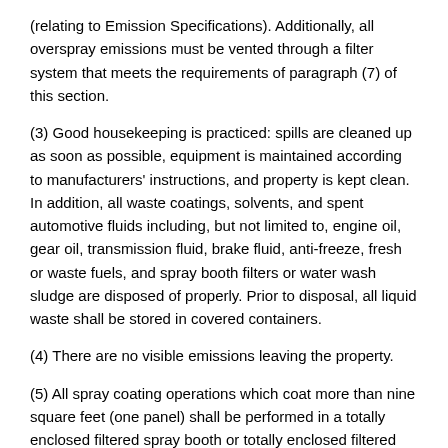(relating to Emission Specifications). Additionally, all overspray emissions must be vented through a filter system that meets the requirements of paragraph (7) of this section.
(3) Good housekeeping is practiced: spills are cleaned up as soon as possible, equipment is maintained according to manufacturers' instructions, and property is kept clean. In addition, all waste coatings, solvents, and spent automotive fluids including, but not limited to, engine oil, gear oil, transmission fluid, brake fluid, anti-freeze, fresh or waste fuels, and spray booth filters or water wash sludge are disposed of properly. Prior to disposal, all liquid waste shall be stored in covered containers.
(4) There are no visible emissions leaving the property.
(5) All spray coating operations which coat more than nine square feet (one panel) shall be performed in a totally enclosed filtered spray booth or totally enclosed filtered spray area with an air intake area of less than 100 square feet. All spray areas shall be equipped with a fan that achieves one of the following requirements: